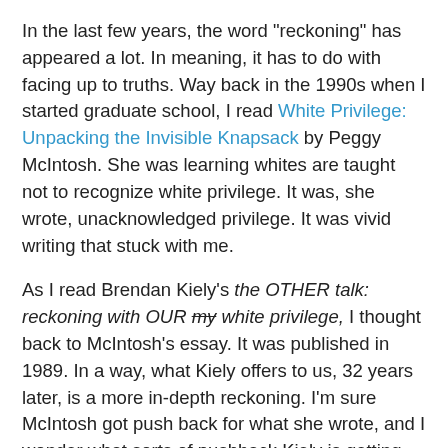In the last few years, the word "reckoning" has appeared a lot. In meaning, it has to do with facing up to truths. Way back in the 1990s when I started graduate school, I read White Privilege: Unpacking the Invisible Knapsack by Peggy McIntosh. She was learning whites are taught not to recognize white privilege. It was, she wrote, unacknowledged privilege. It was vivid writing that stuck with me.
As I read Brendan Kiely's the OTHER talk: reckoning with OUR my white privilege, I thought back to McIntosh's essay. It was published in 1989. In a way, what Kiely offers to us, 32 years later, is a more in-depth reckoning. I'm sure McIntosh got push back for what she wrote, and I wonder what sorts of pushback Kiely is getting for his book. We are in a very heated period in society. Social media has been a great tool for social justice but it has also been used in harmful ways. I don't want to go on about that, so I'll turn back to the book.
Those of you who pay attention to visibility or invisibility of groups of people in the US know that one report after